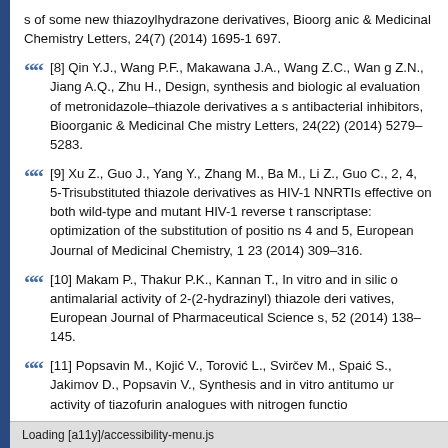s of some new thiazoylhydrazone derivatives, Bioorganic & Medicinal Chemistry Letters, 24(7) (2014) 1695-1697.
[8] Qin Y.J., Wang P.F., Makawana J.A., Wang Z.C., Wang Z.N., Jiang A.Q., Zhu H., Design, synthesis and biological evaluation of metronidazole-thiazole derivatives as antibacterial inhibitors, Bioorganic & Medicinal Chemistry Letters, 24(22) (2014) 5279-5283.
[9] Xu Z., Guo J., Yang Y., Zhang M., Ba M., Li Z., Guo C., 2, 4, 5-Trisubstituted thiazole derivatives as HIV-1 NNRTIs effective on both wild-type and mutant HIV-1 reverse transcriptase: optimization of the substitution of positions 4 and 5, European Journal of Medicinal Chemistry, 123 (2014) 309-316.
[10] Makam P., Thakur P.K., Kannan T., In vitro and in silico antimalarial activity of 2-(2-hydrazinyl) thiazole derivatives, European Journal of Pharmaceutical Sciences, 52 (2014) 138-145.
[11] Popsavin M., Kojić V., Torović L., Svirčev M., Spaić S., Jakimov D., Popsavin V., Synthesis and in vitro antitumour activity of tiazofurin analogues with nitrogen functio...n, European Journal of Medic
Loading [a11y]/accessibility-menu.js